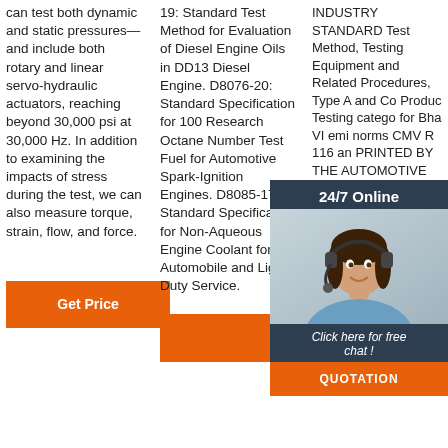can test both dynamic and static pressures— and include both rotary and linear servo-hydraulic actuators, reaching beyond 30,000 psi at 30,000 Hz. In addition to examining the impacts of stress during the test, we can also measure torque, strain, flow, and force.
Get Price
19: Standard Test Method for Evaluation of Diesel Engine Oils in DD13 Diesel Engine. D8076-20: Standard Specification for 100 Research Octane Number Test Fuel for Automotive Spark-Ignition Engines. D8085-17: Standard Specification for Non-Aqueous Engine Coolant for Automobile and Light-Duty Service.
[Figure (photo): Chat widget overlay with '24/7 Online' header, photo of a woman wearing a headset, 'Click here for free chat!' call-to-action text, and an orange QUOTATION button.]
INDUSTRY STANDARD Test Method, Testing Equipment and Related Procedures, Type A and Co Products Testing categories for Bharat VI emission norms CMV Rules 116 and PRINTED BY THE AUTOMOTIVE RESEARCH ASSOCIATION OF INDIA P.B. NO. 832, PUNE
[Figure (logo): TOP logo with orange dot pattern and text 'TOP']